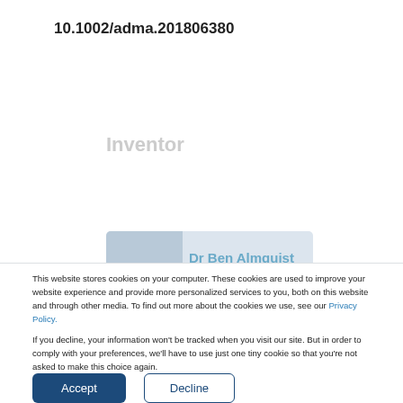10.1002/adma.201806380
Inventor
Dr Ben Almquist
This website stores cookies on your computer. These cookies are used to improve your website experience and provide more personalized services to you, both on this website and through other media. To find out more about the cookies we use, see our Privacy Policy.
If you decline, your information won't be tracked when you visit our site. But in order to comply with your preferences, we'll have to use just one tiny cookie so that you're not asked to make this choice again.
Accept
Decline